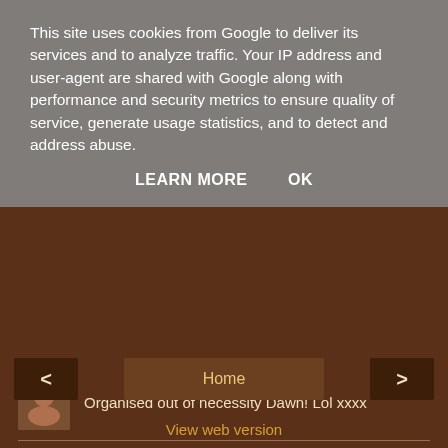This site uses cookies from Google to deliver its services and to analyze traffic. Your IP address and user-agent are shared with Google along with performance and security metrics to ensure quality of service, generate usage statistics, and to detect and address abuse.
LEARN MORE   OK
Organised out of necessity Dawn! Lol xxxx
Reply
Enter comment
Home
View web version